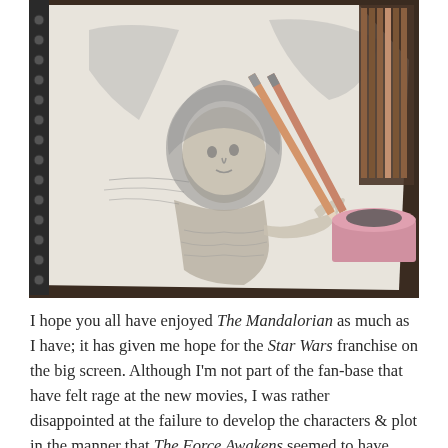[Figure (photo): A pencil sketch drawing of a hooded figure (resembling a character from The Mandalorian, likely Grogu or a young character) with outstretched hand, on a spiral sketchbook. Drawing pencils and a pink container with a dark eraser are visible nearby on a wooden surface.]
I hope you all have enjoyed The Mandalorian as much as I have; it has given me hope for the Star Wars franchise on the big screen. Although I'm not part of the fan-base that have felt rage at the new movies, I was rather disappointed at the failure to develop the characters & plot in the manner that The Force Awakens seemed to have initially been heading towards. I can be satisfied with The Mandalorian